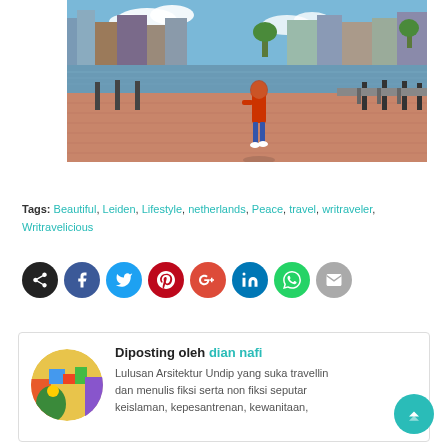[Figure (photo): A person in a red jacket walking along a waterfront promenade with brick paving, bollards, and European-style buildings across the water in Leiden, Netherlands.]
Tags: Beautiful, Leiden, Lifestyle, netherlands, Peace, travel, writraveler, Writravelicious
[Figure (infographic): Row of social media sharing icon buttons: share (black), Facebook (blue), Twitter (light blue), Pinterest (red), Google+ (red-orange), LinkedIn (blue), WhatsApp (green), email (grey).]
Diposting oleh dian nafi
Lulusan Arsitektur Undip yang suka travelling dan menulis fiksi serta non fiksi seputar keislaman, kepesantrenan, kewanitaan,